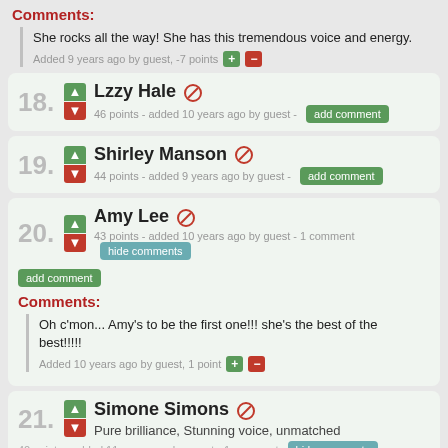Comments:
She rocks all the way! She has this tremendous voice and energy.
Added 9 years ago by guest, -7 points
18. Lzzy Hale — 46 points - added 10 years ago by guest
19. Shirley Manson — 44 points - added 9 years ago by guest
20. Amy Lee — 43 points - added 10 years ago by guest - 1 comment
Comments:
Oh c'mon... Amy's to be the first one!!! she's the best of the best!!!!!
Added 10 years ago by guest, 1 point
21. Simone Simons — Pure brilliance, Stunning voice, unmatched — 40 points - added 11 years ago by guest - 1 comment
Comments: